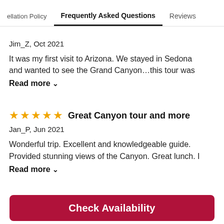ellation Policy   Frequently Asked Questions   Reviews
Jim_Z, Oct 2021
It was my first visit to Arizona. We stayed in Sedona and wanted to see the Grand Canyon...this tour was
Read more ∨
Great Canyon tour and more
Jan_P, Jun 2021
Wonderful trip. Excellent and knowledgeable guide. Provided stunning views of the Canyon. Great lunch. I
Read more ∨
Check Availability